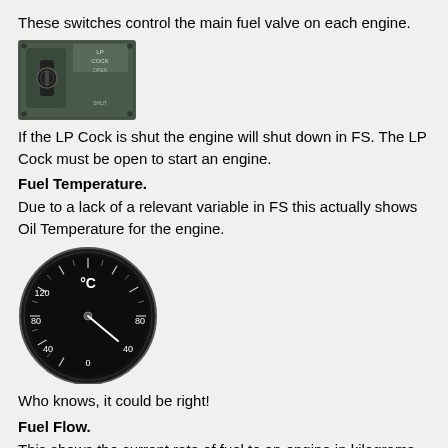These switches control the main fuel valve on each engine.
[Figure (photo): LP Cock switch panel showing a toggle switch with LP COCK OPEN label]
If the LP Cock is shut the engine will shut down in FS. The LP Cock must be open to start an engine.
Fuel Temperature.
Due to a lack of a relevant variable in FS this actually shows Oil Temperature for the engine.
[Figure (photo): Circular fuel temperature gauge with °C label, dark face, showing scale from 0 to 120]
Who knows, it could be right!
Fuel Flow.
This shows the current rate of fuel to an engine in kilograms per hour x 1000.
[Figure (photo): Partial view of fuel flow gauge, semi-circular dial visible at bottom of page]